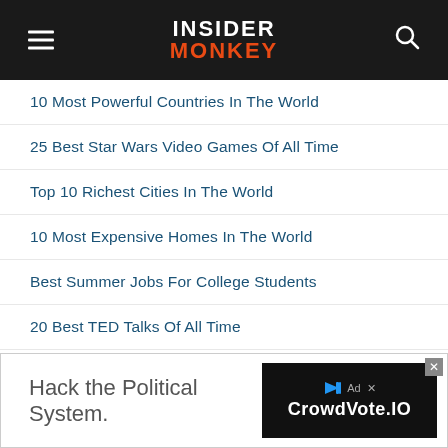[Figure (logo): Insider Monkey website header with hamburger menu, logo (INSIDER in white, MONKEY in orange-red), and search icon on dark background]
10 Most Powerful Countries In The World
25 Best Star Wars Video Games Of All Time
Top 10 Richest Cities In The World
10 Most Expensive Homes In The World
Best Summer Jobs For College Students
20 Best TED Talks Of All Time
8 Most Corrupt Countries In The World
10 Most Expensive Cities In The World
6 Longest Prison Sentences Ever Given
[Figure (screenshot): Advertisement banner: 'Hack the Political System.' text on left, CrowdVote.IO logo on right dark panel]